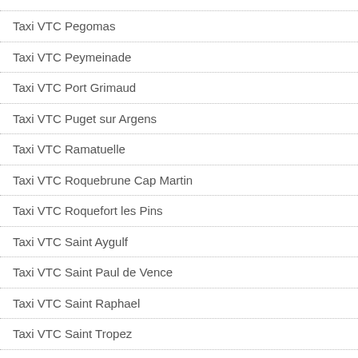Taxi VTC Pegomas
Taxi VTC Peymeinade
Taxi VTC Port Grimaud
Taxi VTC Puget sur Argens
Taxi VTC Ramatuelle
Taxi VTC Roquebrune Cap Martin
Taxi VTC Roquefort les Pins
Taxi VTC Saint Aygulf
Taxi VTC Saint Paul de Vence
Taxi VTC Saint Raphael
Taxi VTC Saint Tropez
Taxi VTC Sainte Maxime
Taxi VTC Theoule sur Mer
Taxi VTC Valbom